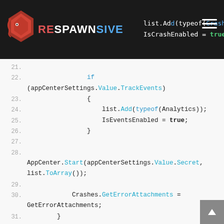list.Add(typeof(Crashes)); IsCrashEnabled = true;
[Figure (screenshot): Code snippet showing C# AppCenter SDK integration with line numbers 21-38, including conditional blocks for TrackEvents/Analytics, AppCenter.Start call, GetErrorAttachments delegate, and class properties IsCrashEnabled and IsEventsEnabled.]